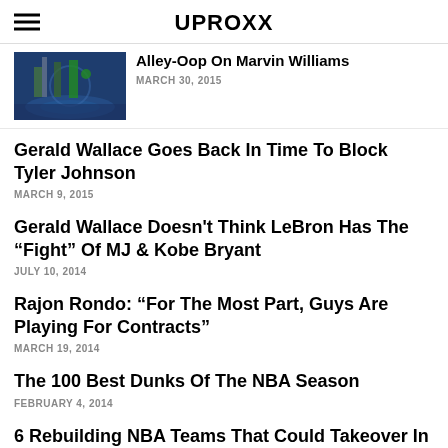UPROXX
Alley-Oop On Marvin Williams
MARCH 30, 2015
Gerald Wallace Goes Back In Time To Block Tyler Johnson
MARCH 9, 2015
Gerald Wallace Doesn't Think LeBron Has The “Fight” Of MJ & Kobe Bryant
JULY 10, 2014
Rajon Rondo: “For The Most Part, Guys Are Playing For Contracts”
MARCH 19, 2014
The 100 Best Dunks Of The NBA Season
FEBRUARY 4, 2014
6 Rebuilding NBA Teams That Could Takeover In The Future